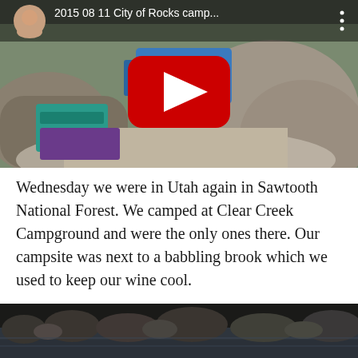[Figure (screenshot): YouTube video thumbnail showing a camping scene at City of Rocks with a red play button overlay. Title reads '2015 08 11 City of Rocks camp...' with a user avatar in top-left corner and a three-dot menu icon in top-right.]
Wednesday we were in Utah again in Sawtooth National Forest. We camped at Clear Creek Campground and were the only ones there. Our campsite was next to a babbling brook which we used to keep our wine cool.
[Figure (photo): A photo of a rocky creek or river with large stones and dark water, partially visible at the bottom of the page.]